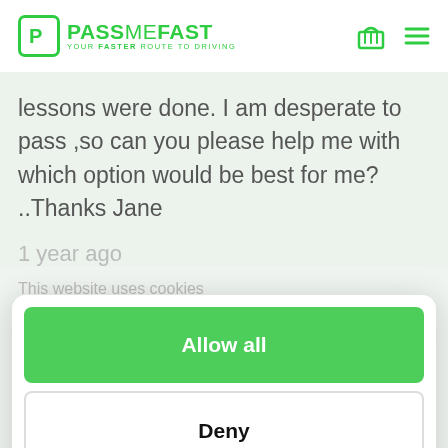[Figure (logo): PassMeFast logo — green P in a rounded square, text PASS ME FAST with tagline YOUR FASTER ROUTE TO DRIVING]
lessons were done. I am desperate to pass ,so can you please help me with which option would be best for me? ..Thanks Jane
1 year ago
This website uses cookies
Allow all
Deny
Powered by Cookiebot by Usercentrics